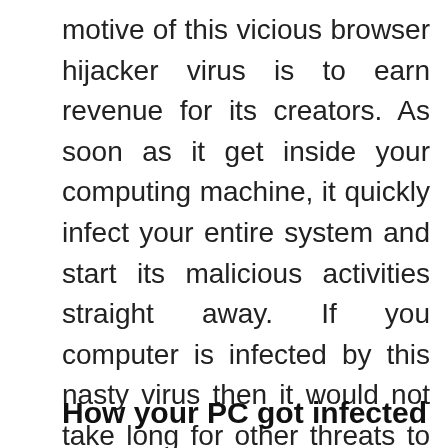motive of this vicious browser hijacker virus is to earn revenue for its creators. As soon as it get inside your computing machine, it quickly infect your entire system and start its malicious activities straight away. If you computer is infected by this nasty virus then it would not take long for other threats to get inside your system and damage your entire system. Hence if you see this nasty Tag Search virus on your system then do a complete scan of your system and try to eliminate this malware immediately from your PC.
How your PC got infected